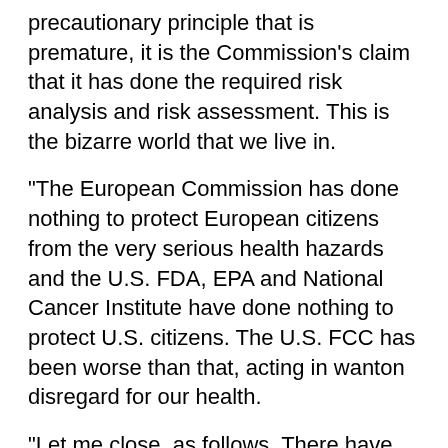precautionary principle that is premature, it is the Commission's claim that it has done the required risk analysis and risk assessment. This is the bizarre world that we live in.
"The European Commission has done nothing to protect European citizens from the very serious health hazards and the U.S. FDA, EPA and National Cancer Institute have done nothing to protect U.S. citizens. The U.S. FCC has been worse than that, acting in wanton disregard for our health.
"Let me close, as follows. There have been certain points in our history where people have stood up to strong destructive forces